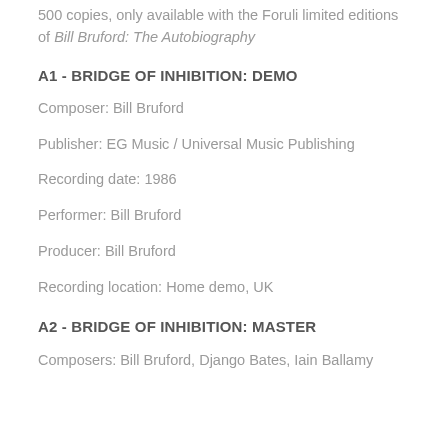500 copies, only available with the Foruli limited editions of Bill Bruford: The Autobiography
A1 - BRIDGE OF INHIBITION: DEMO
Composer: Bill Bruford
Publisher: EG Music / Universal Music Publishing
Recording date: 1986
Performer: Bill Bruford
Producer: Bill Bruford
Recording location: Home demo, UK
A2 - BRIDGE OF INHIBITION: MASTER
Composers: Bill Bruford, Django Bates, Iain Ballamy